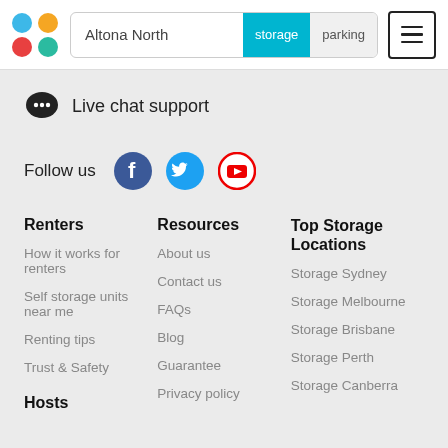Altona North | storage | parking
Live chat support
Follow us
Renters
How it works for renters
Self storage units near me
Renting tips
Trust & Safety
Hosts
Resources
About us
Contact us
FAQs
Blog
Guarantee
Privacy policy
Top Storage Locations
Storage Sydney
Storage Melbourne
Storage Brisbane
Storage Perth
Storage Canberra